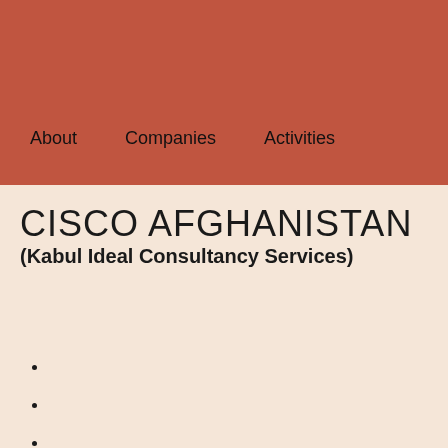About   Companies   Activities
CISCO AFGHANISTAN
(Kabul Ideal Consultancy Services)